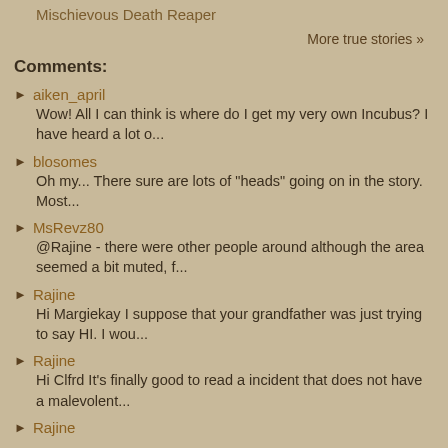Mischievous Death Reaper
More true stories »
Comments:
aiken_april
Wow! All I can think is where do I get my very own Incubus? I have heard a lot o...
blosomes
Oh my... There sure are lots of "heads" going on in the story. Most...
MsRevz80
@Rajine - there were other people around although the area seemed a bit muted, f...
Rajine
Hi Margiekay I suppose that your grandfather was just trying to say HI. I wou...
Rajine
Hi Clfrd It's finally good to read a incident that does not have a malevolent...
Rajine